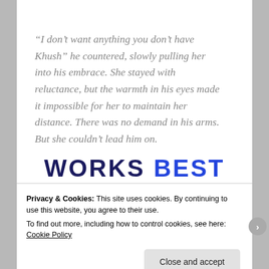“I don’t want anything you don’t have Khush” he countered, slowly pulling her into his embrace. She stayed with reluctance, but the warmth in his eyes made it impossible for her to maintain her distance. There was no demand in his arms. But she couldn’t lead him on.
WORKS Best
Privacy & Cookies: This site uses cookies. By continuing to use this website, you agree to their use.
To find out more, including how to control cookies, see here: Cookie Policy
Close and accept